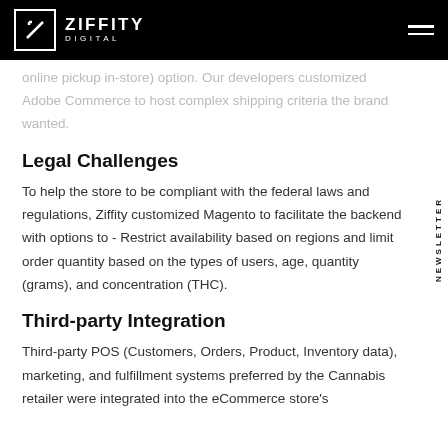ZIFFITY DIGITAL
online pickup in-store) option. Our developers customized Adobe Commerce to host complex shipping criteria the brand wanted.
Legal Challenges
To help the store to be compliant with the federal laws and regulations, Ziffity customized Magento to facilitate the backend with options to - Restrict availability based on regions and limit order quantity based on the types of users, age, quantity (grams), and concentration (THC).
Third-party Integration
Third-party POS (Customers, Orders, Product, Inventory data), marketing, and fulfillment systems preferred by the Cannabis retailer were integrated into the eCommerce store's